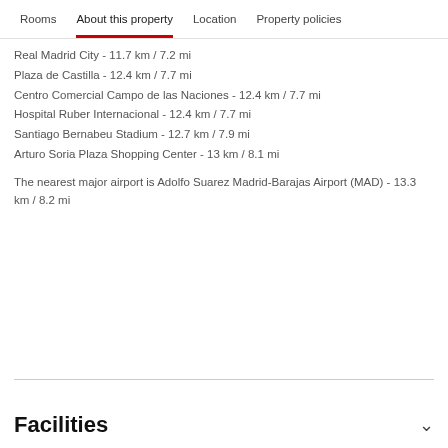Rooms   About this property   Location   Property policies
Real Madrid City - 11.7 km / 7.2 mi
Plaza de Castilla - 12.4 km / 7.7 mi
Centro Comercial Campo de las Naciones - 12.4 km / 7.7 mi
Hospital Ruber Internacional - 12.4 km / 7.7 mi
Santiago Bernabeu Stadium - 12.7 km / 7.9 mi
Arturo Soria Plaza Shopping Center - 13 km / 8.1 mi
The nearest major airport is Adolfo Suarez Madrid-Barajas Airport (MAD) - 13.3 km / 8.2 mi
Facilities